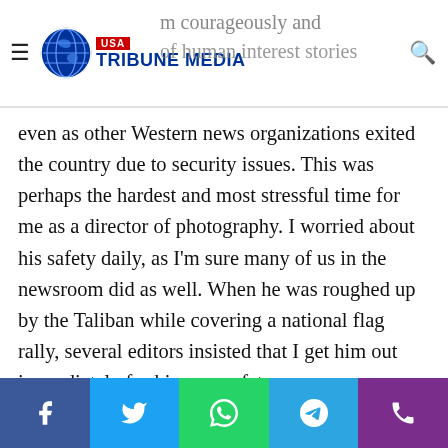USA Tribune Media
even as other Western news organizations exited the country due to security issues. This was perhaps the hardest and most stressful time for me as a director of photography. I worried about his safety daily, as I'm sure many of us in the newsroom did as well. When he was roughed up by the Taliban while covering a national flag rally, several editors insisted that I get him out immediately for his own safety.
Each time I spoke to Yam about leaving, he'd always remind me this was an important story that needed to be told. He would assure me that he had two exit plans every day and that he was safe. Ultimately, after some back and forth he would...